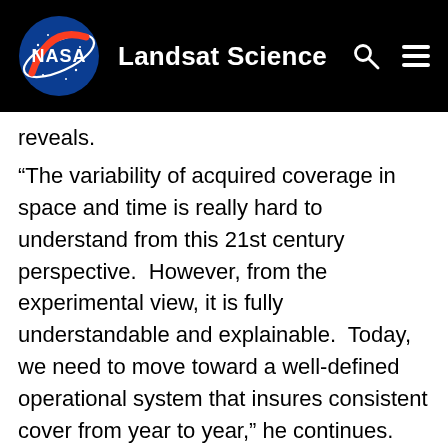Landsat Science
reveals.
“The variability of acquired coverage in space and time is really hard to understand from this 21st century perspective.  However, from the experimental view, it is fully understandable and explainable.  Today, we need to move toward a well-defined operational system that insures consistent cover from year to year,” he continues.
Goward, in his role as the Landsat 7 Science Team leader, helped take the first steps towards consistent Landsat data coverage by devising and implementing the Long Term Acquisition Plan